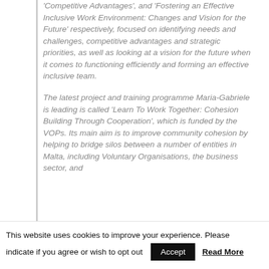Competitive Advantages', and 'Fostering an Effective Inclusive Work Environment: Changes and Vision for the Future' respectively, focused on identifying needs and challenges, competitive advantages and strategic priorities, as well as looking at a vision for the future when it comes to functioning efficiently and forming an effective inclusive team.
The latest project and training programme Maria-Gabriele is leading is called 'Learn To Work Together: Cohesion Building Through Cooperation', which is funded by the VOPs. Its main aim is to improve community cohesion by helping to bridge silos between a number of entities in Malta, including Voluntary Organisations, the business sector, and
This website uses cookies to improve your experience. Please indicate if you agree or wish to opt out  Accept  Read More